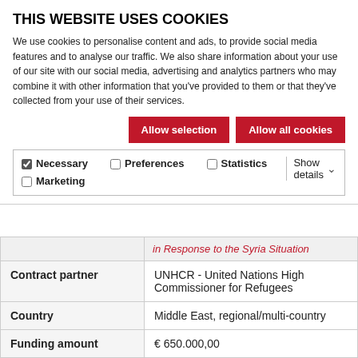THIS WEBSITE USES COOKIES
We use cookies to personalise content and ads, to provide social media features and to analyse our traffic. We also share information about your use of our site with our social media, advertising and analytics partners who may combine it with other information that you've provided to them or that they've collected from your use of their services.
Allow selection | Allow all cookies
Necessary  Preferences  Statistics  Marketing  Show details
|  |  |
| --- | --- |
|  | in Response to the Syria Situation |
| Contract partner | UNHCR - United Nations High Commissioner for Refugees |
| Country | Middle East, regional/multi-country |
| Funding amount | € 650.000,00 |
| Project start | 01.03.2012 |
| End | 31.12.2012 |